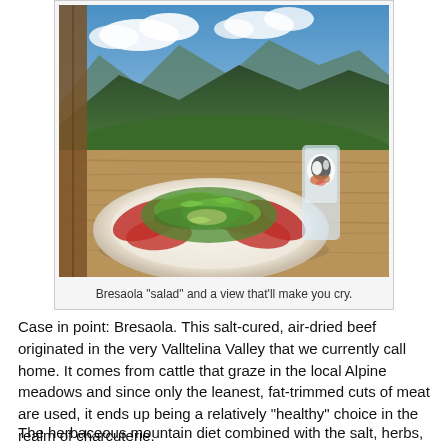[Figure (photo): A plate of Bresaola salad with arugula on a white plate, with a scenic Alpine mountain view in the background and a glass with a dog print. Outdoor restaurant setting with wooden table.]
Bresaola "salad" and a view that'll make you cry.
Case in point: Bresaola. This salt-cured, air-dried beef originated in the very Valltelina Valley that we currently call home. It comes from cattle that graze in the local Alpine meadows and since only the leanest, fat-trimmed cuts of meat are used, it ends up being a relatively "healthy" choice in the realm of charcuterie.
The herbaceous mountain diet combined with the salt, herbs, and seasonings that are massaged onto the rind before